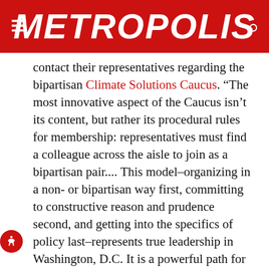METROPOLIS
contact their representatives regarding the bipartisan Climate Solutions Caucus. “The most innovative aspect of the Caucus isn’t its content, but rather its procedural rules for membership: representatives must find a colleague across the aisle to join as a bipartisan pair.... This model–organizing in a non- or bipartisan way first, committing to constructive reason and prudence second, and getting into the specifics of policy last–represents true leadership in Washington, D.C. It is a powerful path for the urgently